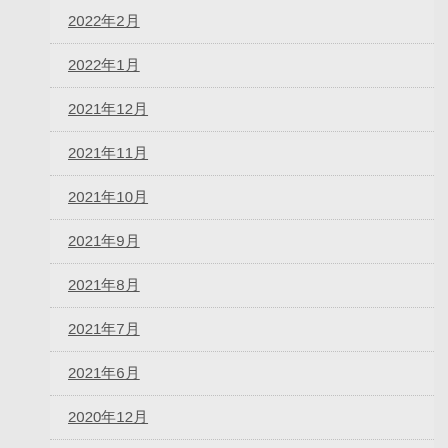2022年2月
2022年1月
2021年12月
2021年11月
2021年10月
2021年9月
2021年8月
2021年7月
2021年6月
2020年12月
2020年11月
2020年7月
2020年…